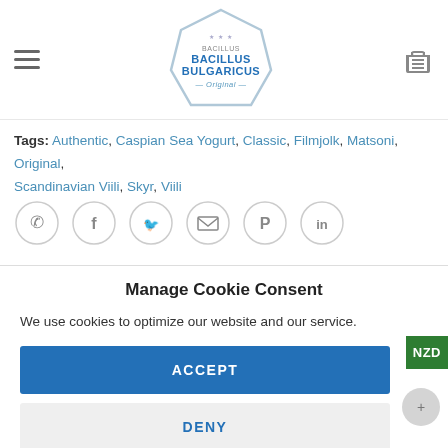Bacillus Bulgaricus — website header with hamburger menu, logo, and cart icon
Tags: Authentic, Caspian Sea Yogurt, Classic, Filmjolk, Matsoni, Original, Scandinavian Viili, Skyr, Viili
[Figure (infographic): Row of 6 circular social sharing icons: WhatsApp, Facebook, Twitter, Email, Pinterest, LinkedIn]
Manage Cookie Consent
We use cookies to optimize our website and our service.
ACCEPT
DENY
PREFERENCES